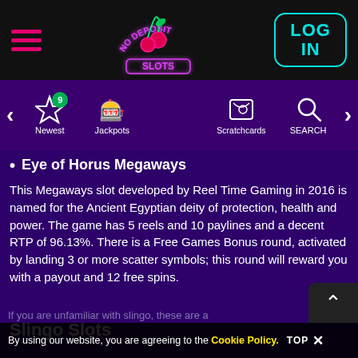No Deposit Slots — navigation header with hamburger menu, neon logo, and LOG IN button
[Figure (screenshot): Navigation bar with icons: star (Newest, badge 9), dice/slots (Jackpots), globe (Bingo), scratchcard (Scratchcards), magnifier (SEARCH), with left/right arrow controls]
Eye of Horus Megaways
This Megaways slot developed by Reel Time Gaming in 2016 is named for the Ancient Egyptian deity of protection, health and power. The game has 5 reels and 10 paylines and a decent RTP of 96.13%. There is a Free Games Bonus round, activated by landing 3 or more scatter symbols; this round will reward you with a payout and 12 free spins.
Slingo Slots
By using our website, you are agreeing to the Cookie Policy.  TOP ✕
If you are unfamiliar with slingo, these are a…